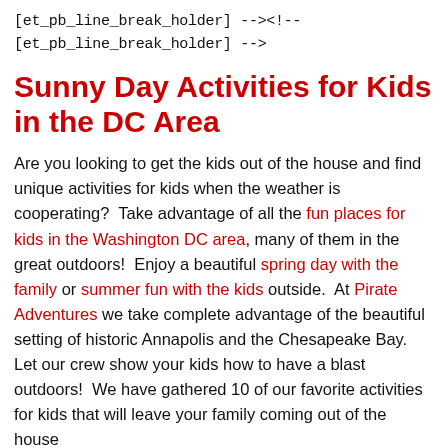[et_pb_line_break_holder] --><!-- [et_pb_line_break_holder] -->
Sunny Day Activities for Kids in the DC Area
Are you looking to get the kids out of the house and find unique activities for kids when the weather is cooperating?  Take advantage of all the fun places for kids in the Washington DC area, many of them in the great outdoors!  Enjoy a beautiful spring day with the family or summer fun with the kids outside.  At Pirate Adventures we take complete advantage of the beautiful setting of historic Annapolis and the Chesapeake Bay.  Let our crew show your kids how to have a blast outdoors!  We have gathered 10 of our favorite activities for kids that will leave your family coming out of the house...